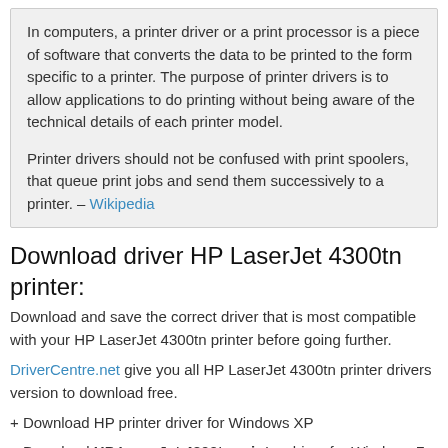In computers, a printer driver or a print processor is a piece of software that converts the data to be printed to the form specific to a printer. The purpose of printer drivers is to allow applications to do printing without being aware of the technical details of each printer model.

Printer drivers should not be confused with print spoolers, that queue print jobs and send them successively to a printer. – Wikipedia
Download driver HP LaserJet 4300tn printer:
Download and save the correct driver that is most compatible with your HP LaserJet 4300tn printer before going further.
DriverCentre.net give you all HP LaserJet 4300tn printer drivers version to download free.
+ Download HP printer driver for Windows XP
+ Download HP LaserJet 4300tn printer driver for Windows 7 and Windows Vista